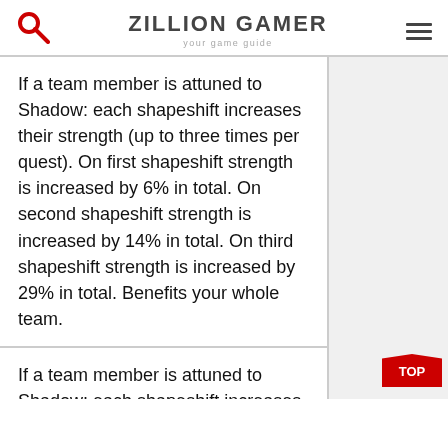ZILLION GAMER your game guide
If a team member is attuned to Shadow: each shapeshift increases their strength (up to three times per quest). On first shapeshift strength is increased by 6% in total. On second shapeshift strength is increased by 14% in total. On third shapeshift strength is increased by 29% in total. Benefits your whole team.
If a team member is attuned to Shadow: each shapeshift increases their strength (up to three times per quest). On first shapeshift strength is increased by